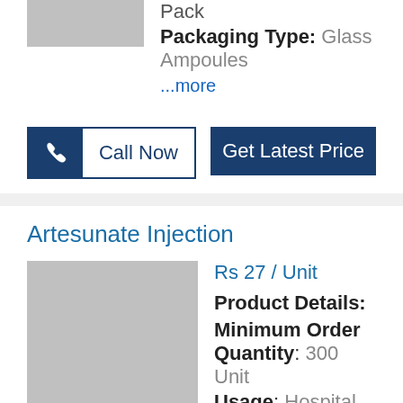Pack
Packaging Type: Glass Ampoules
...more
Call Now
Get Latest Price
Artesunate Injection
Rs 27 / Unit
Product Details:
Minimum Order Quantity: 300 Unit
Usage: Hospital, Clinical
...more
Call Now
Get Latest Price